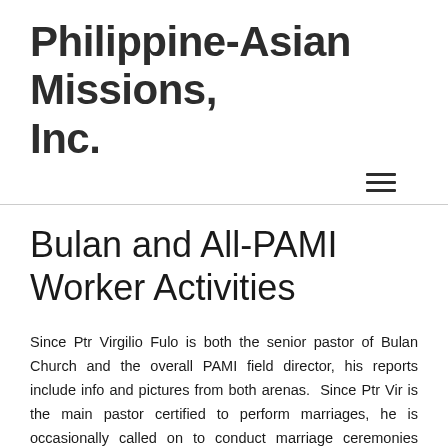Philippine-Asian Missions, Inc.
Bulan and All-PAMI Worker Activities
Since Ptr Virgilio Fulo is both the senior pastor of Bulan Church and the overall PAMI field director, his reports include info and pictures from both arenas.  Since Ptr Vir is the main pastor certified to perform marriages, he is occasionally called on to conduct marriage ceremonies throughout the mission.  He